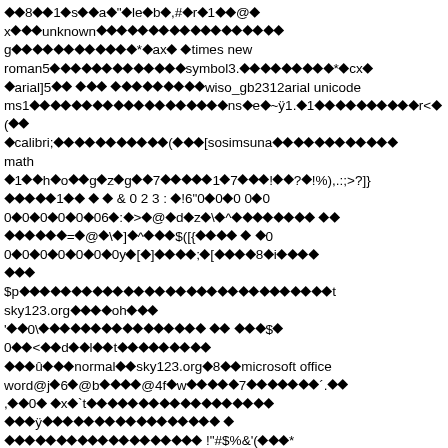corrupted/encoded text content with mixed font references including unknown, times new roman, symbol, arial, wiso_gb2312, arial unicode ms, calibri, sosimsuna, math and various special characters, punctuation, and symbols